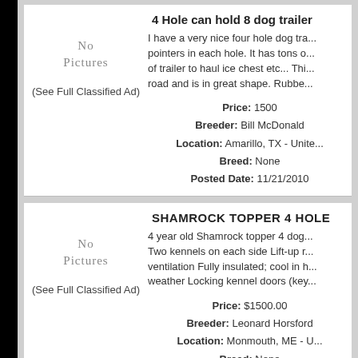4 Hole can hold 8 dog trailer
I have a very nice four hole dog tra... pointers in each hole. It has tons o... of trailer to haul ice chest etc... Thi... road and is in great shape. Rubbe...
[Figure (other): No Pictures placeholder]
(See Full Classified Ad)
Price: 1500
Breeder: Bill McDonald
Location: Amarillo, TX - Unite
Breed: None
Posted Date: 11/21/2010
SHAMROCK TOPPER 4 HOLE
4 year old Shamrock topper 4 dog... Two kennels on each side Lift-up r... ventilation Fully insulated; cool in h... weather Locking kennel doors (key...
[Figure (other): No Pictures placeholder]
(See Full Classified Ad)
Price: $1500.00
Breeder: Leonard Horsford
Location: Monmouth, ME - U
Breed: None
Posted Date: 11/21/2010